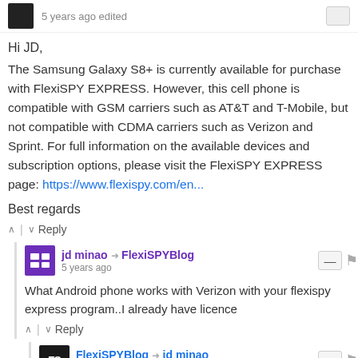5 years ago edited
Hi JD,
The Samsung Galaxy S8+ is currently available for purchase with FlexiSPY EXPRESS. However, this cell phone is compatible with GSM carriers such as AT&T and T-Mobile, but not compatible with CDMA carriers such as Verizon and Sprint. For full information on the available devices and subscription options, please visit the FlexiSPY EXPRESS page: https://www.flexispy.com/en...
Best regards
Reply
jd minao → FlexiSPYBlog
5 years ago
What Android phone works with Verizon with your flexispy express program..I already have licence
Reply
FlexiSPYBlog → jd minao
5 years ago
Hi JD,